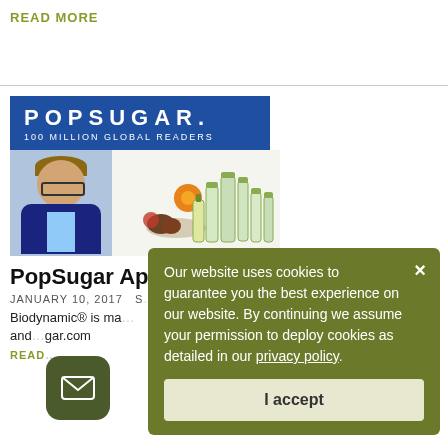READ MORE
[Figure (logo): POPSUGAR. logo with '100 MILLION GLOBAL READERS' subtitle on blue background]
[Figure (photo): Photo of a bald man with glasses smiling, wearing a dark jacket, next to skincare product bottles with orange flowers and green packaging]
PopSugar App... Care
JANUARY 10, 2017 S...
Biodynamic® is ma... and ...gar.com
READ...
Our website uses cookies to guarantee you the best experience on our website. By continuing we assume your permission to deploy cookies as detailed in our privacy policy.
I accept